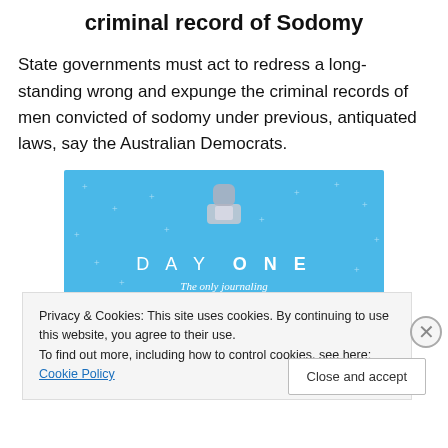criminal record of Sodomy
State governments must act to redress a long-standing wrong and expunge the criminal records of men convicted of sodomy under previous, antiquated laws, say the Australian Democrats.
[Figure (illustration): DAY ONE app advertisement on blue background with decorative stars/plus signs, person holding a box, text reads 'DAY ONE - The only journaling app you'll ever need.']
Privacy & Cookies: This site uses cookies. By continuing to use this website, you agree to their use.
To find out more, including how to control cookies, see here: Cookie Policy
Close and accept